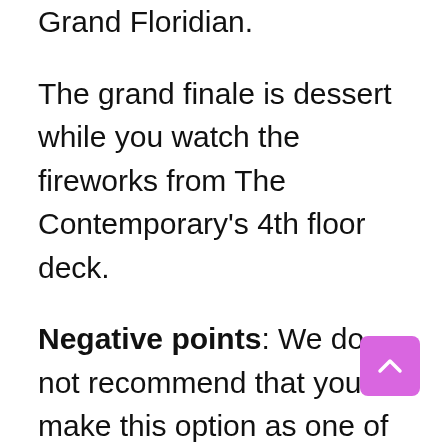Grand Floridian.
The grand finale is dessert while you watch the fireworks from The Contemporary's 4th floor deck.
Negative points: We do not recommend that you make this option as one of the best places to watch Magic Kingdom fireworks outside the park, as you can see the fireworks for free on the same observation deck offered in this